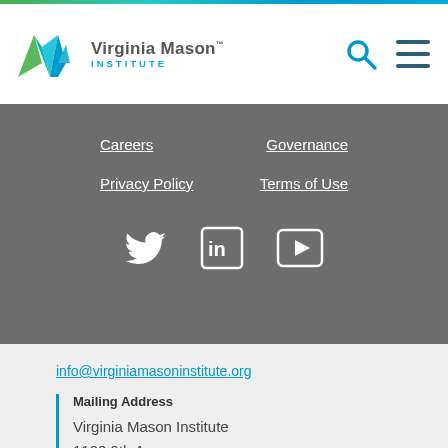[Figure (logo): Virginia Mason Institute logo with stylized VM mark in green and teal, and text 'Virginia Mason INSTITUTE']
Careers
Governance
Privacy Policy
Terms of Use
[Figure (infographic): Social media icons: Twitter bird, LinkedIn 'in' box, YouTube play button box]
info@virginiamasoninstitute.org
Mailing Address
Virginia Mason Institute
1100 9th Ave.
M/S M10- PA